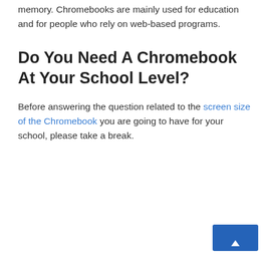memory. Chromebooks are mainly used for education and for people who rely on web-based programs.
Do You Need A Chromebook At Your School Level?
Before answering the question related to the screen size of the Chromebook you are going to have for your school, please take a break.